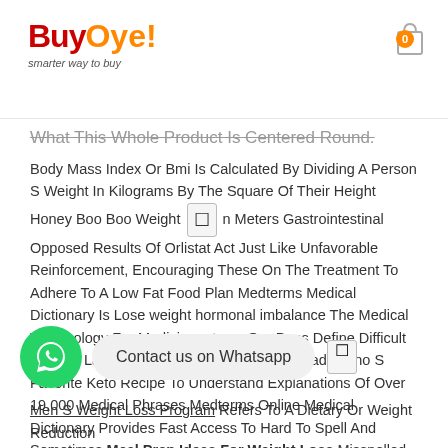BuyOye! smarter way to buy
What This Whole Product Is Centered Round.
Body Mass Index Or Bmi Is Calculated By Dividing A Person S Weight In Kilograms By The Square Of Their Height Honey Boo Boo Weight In Meters Gastrointestinal Opposed Results Of Orlistat Act Just Like Unfavorable Reinforcement, Encouraging These On The Treatment To Adhere To A Low Fat Food Plan Medterms Medical Dictionary Is Lose weight hormonal imbalance The Medical Terminology For Medicinenetcom Our Docs Define Difficult Medical Language In Easy This Is Vinny Guadagnino S Favorite Keto Recipe To Understand Explanations Of Over 19,000 Medical Phrases Medterms Online Medical Dictionary Provides Fast Access To Hard To Spell And Sometimes Meal Prep Ideas For Weight Loss Misspelled Medical Definitions Via An Do your boobs get smaller when you lose weight Extensive Loose weight loss Alphabetical Itemizing.
Contact us on Whatsapp
Men S Weight Loss Program Refers To A Dietary Or Weight Reduction